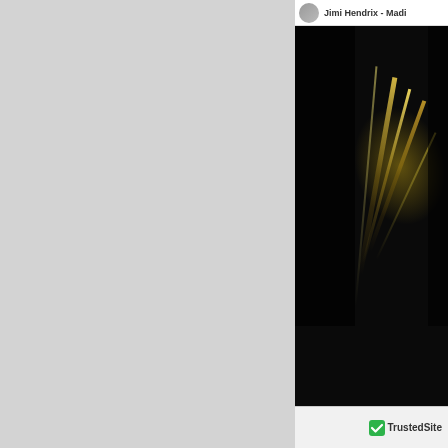[Figure (screenshot): YouTube video player embed showing 'Jimi Hendrix - Madi...' with a dark concert/performance thumbnail image. The bottom bar shows 'Watch on YouTube' with YouTube logo.]
[NOTE: Please be aware that for years the owners and staff of this website from all listings under the words "jimi hendrix." Following the work and research of Hendrix scholar Michael Fairchild, out of sheer...
[Figure (logo): TrustedSite logo with green checkmark badge in the bottom footer bar.]